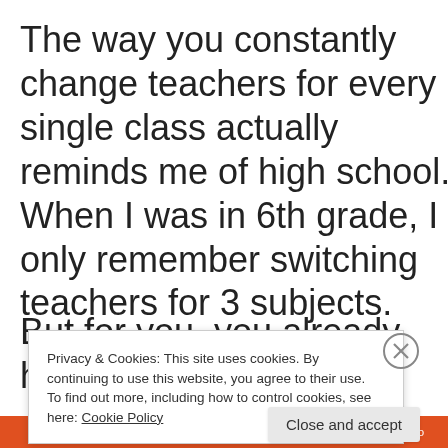The way you constantly change teachers for every single class actually reminds me of high school. When I was in 6th grade, I only remember switching teachers for 3 subjects.
But for you, you already have
Privacy & Cookies: This site uses cookies. By continuing to use this website, you agree to their use.
To find out more, including how to control cookies, see here: Cookie Policy
Close and accept